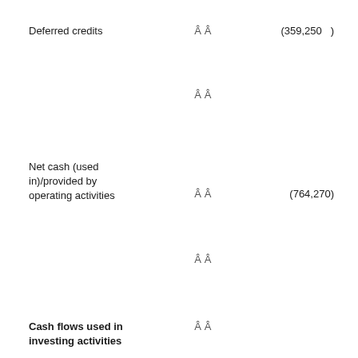Deferred credits  Â Â  (359,250  )
Â Â
Net cash (used in)/provided by operating activities  Â Â  (764,270)
Â Â
Cash flows used in investing activities  Â Â